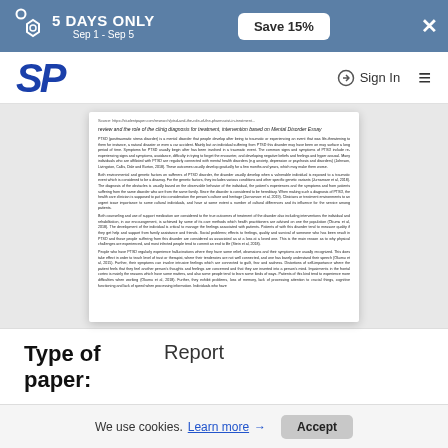5 DAYS ONLY Sep 1 - Sep 5 | Save 15% | X
SP | Sign In
[Figure (screenshot): Preview of a research document page about PTSD. Contains source URL, italic title about diagnosis and treatment, and multiple paragraphs of body text discussing PTSD symptoms, environmental and genetic factors, diagnosis, treatment, and social support.]
| Type of paper: |  |
| --- | --- |
| Type of paper: | Report |
We use cookies. Learn more → Accept